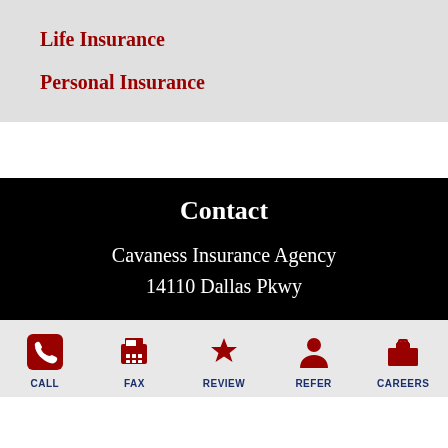Life Insurance
Personal Insurance
Contact
Cavaness Insurance Agency
14110 Dallas Pkwy
CALL  FAX  REVIEW  REFER  CAREERS